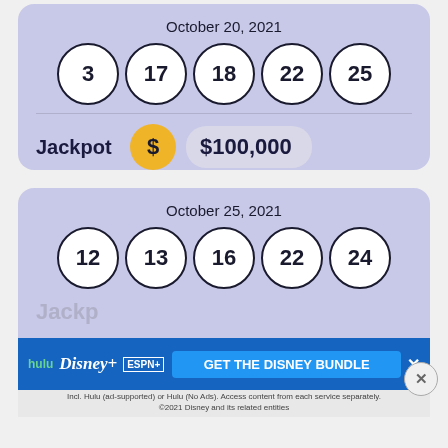October 20, 2021
[Figure (infographic): Five lottery balls showing numbers 3, 17, 18, 22, 25]
Jackpot  $100,000
October 25, 2021
[Figure (infographic): Five lottery balls showing numbers 12, 13, 16, 22, 24]
Jackpot
[Figure (infographic): Advertisement: hulu Disney+ ESPN+ GET THE DISNEY BUNDLE. Incl. Hulu (ad-supported) or Hulu (No Ads). Access content from each service separately. ©2021 Disney and its related entities]